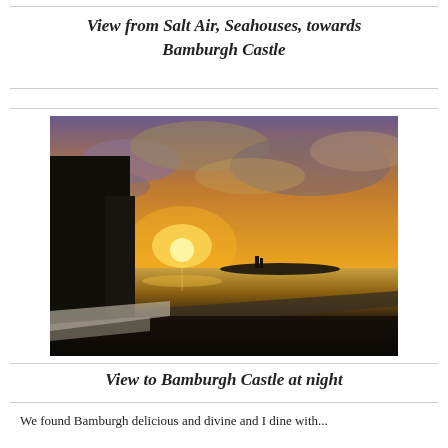View from Salt Air, Seahouses, towards Bamburgh Castle
[Figure (photo): Sunset photo viewed from Salt Air, Seahouses, looking towards Bamburgh Castle at night. A golden orange sunset over the sea with dramatic cloudy sky, a building silhouette on the left, a coastal road, and Bamburgh Castle faintly visible in the distance.]
View to Bamburgh Castle at night
We found Bamburgh delicious and divine and I dine with...